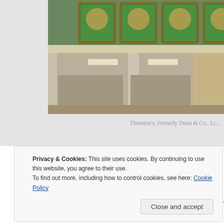[Figure (photo): Exterior of a building with stained glass windows showing crests/heraldic symbols on a green background, formerly Dunn & Co. premises]
Thornton's, formerly Dunn & Co., Li...
Introduction
Dunn & Co. was the most recognisable chain of men's hatters th... the 20th century. By the late 1920s it was also a men's outfitters... fashions – which no longer involved hats – led to the company's...
Privacy & Cookies: This site uses cookies. By continuing to use this website, you agree to their use.
To find out more, including how to control cookies, see here: Cookie Policy
Close and accept